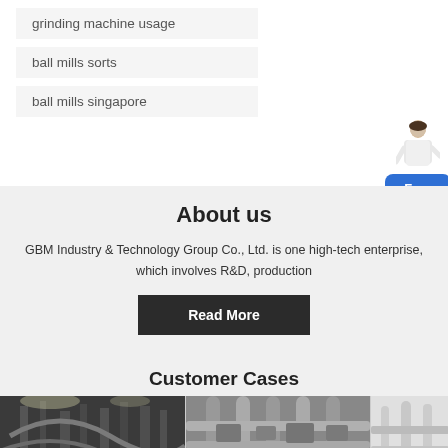grinding machine usage
ball mills sorts
ball mills singapore
[Figure (illustration): Customer service person illustration with Free chat button widget]
About us
GBM Industry & Technology Group Co., Ltd. is one high-tech enterprise, which involves R&D, production
Read More
Customer Cases
[Figure (photo): Two industrial facility photos showing machinery and pipes]